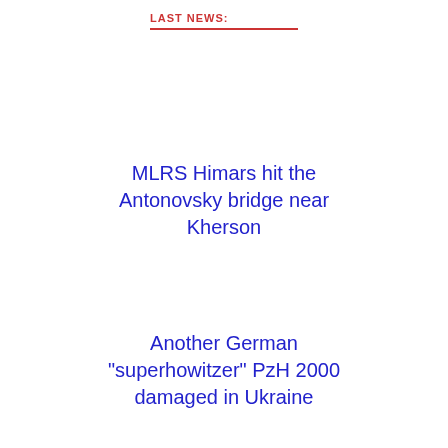LAST NEWS:
MLRS Himars hit the Antonovsky bridge near Kherson
Another German "superhowitzer" PzH 2000 damaged in Ukraine